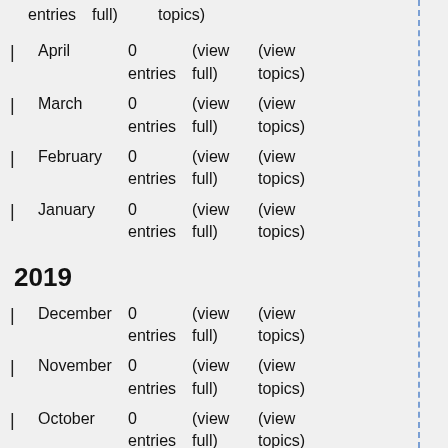entries   full)   topics)
April   0 entries   (view full)   (view topics)
March   0 entries   (view full)   (view topics)
February   0 entries   (view full)   (view topics)
January   0 entries   (view full)   (view topics)
2019
December   0 entries   (view full)   (view topics)
November   0 entries   (view full)   (view topics)
October   0 entries   (view full)   (view topics)